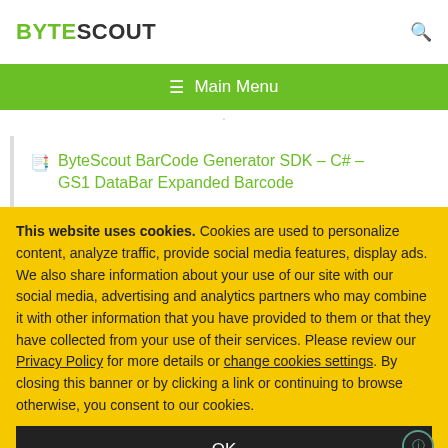BYTESCOUT
≡  Main Menu
ByteScout BarCode Generator SDK – C# – GS1 DataBar Expanded Barcode
This website uses cookies. Cookies are used to personalize content, analyze traffic, provide social media features, display ads. We also share information about your use of our site with our social media, advertising and analytics partners who may combine it with other information that you have provided to them or that they have collected from your use of their services. Please review our Privacy Policy for more details or change cookies settings. By closing this banner or by clicking a link or continuing to browse otherwise, you consent to our cookies.
OK